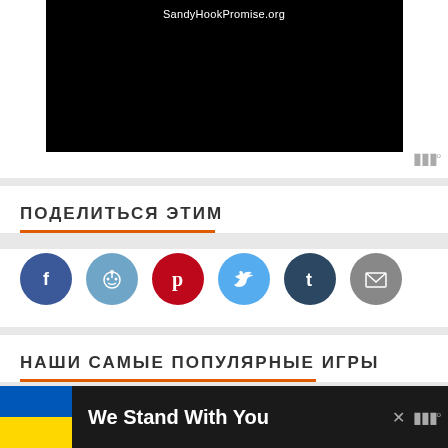[Figure (screenshot): Black video player area with 'SandyHookPromise.org' text and a watermark icon in the bottom right]
ПОДЕЛИТЬСЯ ЭТИМ
[Figure (infographic): Six social sharing icons: Facebook (blue), Reddit (light blue), Pinterest (red), Twitter (light blue), Tumblr (dark blue), Email (grey)]
НАШИ САМЫЕ ПОПУЛЯРНЫЕ ИГРЫ
[Figure (photo): theHunter game thumbnail with deer in nature scene]
theHunter: Call of the Wild - Xbox One
We Stand With You